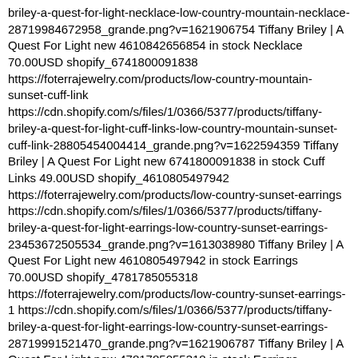briley-a-quest-for-light-necklace-low-country-mountain-necklace-28719984672958_grande.png?v=1621906754 Tiffany Briley | A Quest For Light new 4610842656854 in stock Necklace 70.00USD shopify_6741800091838 https://foterrajewelry.com/products/low-country-mountain-sunset-cuff-link https://cdn.shopify.com/s/files/1/0366/5377/products/tiffany-briley-a-quest-for-light-cuff-links-low-country-mountain-sunset-cuff-link-28805454004414_grande.png?v=1622594359 Tiffany Briley | A Quest For Light new 6741800091838 in stock Cuff Links 49.00USD shopify_4610805497942 https://foterrajewelry.com/products/low-country-sunset-earrings https://cdn.shopify.com/s/files/1/0366/5377/products/tiffany-briley-a-quest-for-light-earrings-low-country-sunset-earrings-23453672505534_grande.png?v=1613038980 Tiffany Briley | A Quest For Light new 4610805497942 in stock Earrings 70.00USD shopify_4781785055318 https://foterrajewelry.com/products/low-country-sunset-earrings-1 https://cdn.shopify.com/s/files/1/0366/5377/products/tiffany-briley-a-quest-for-light-earrings-low-country-sunset-earrings-28719991521470_grande.png?v=1621906787 Tiffany Briley | A Quest For Light new 4781785055318 in stock Earrings 70.00USD shopify_4610804514902 https://foterrajewelry.com/products/low-country-sunset-necklace https://cdn.shopify.com/s/files/1/0366/5377/products/tiffany-briley-a-quest-for-light-necklace-low-country-sunset-necklace-23453666149542_grande.png?v=1613038966 Tiffany Briley | A